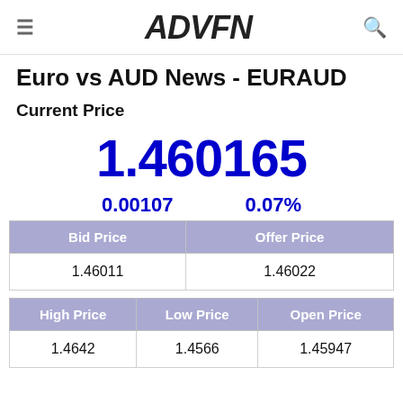≡  ADVFN  🔍
Euro vs AUD News - EURAUD
Current Price
1.460165
0.00107   0.07%
| Bid Price | Offer Price |
| --- | --- |
| 1.46011 | 1.46022 |
| High Price | Low Price | Open Price |
| --- | --- | --- |
| 1.4642 | 1.4566 | 1.45947 |